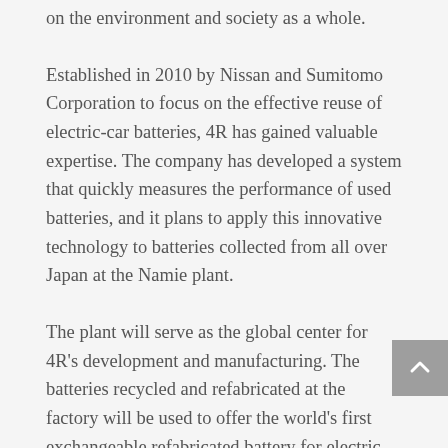on the environment and society as a whole.
Established in 2010 by Nissan and Sumitomo Corporation to focus on the effective reuse of electric-car batteries, 4R has gained valuable expertise. The company has developed a system that quickly measures the performance of used batteries, and it plans to apply this innovative technology to batteries collected from all over Japan at the Namie plant.
The plant will serve as the global center for 4R's development and manufacturing. The batteries recycled and refabricated at the factory will be used to offer the world's first exchangeable refabricated battery for electric vehicles, and will also be used in large-scale storage systems and electric forklifts. The plant is the first new factory in Namie since the town was devastated by